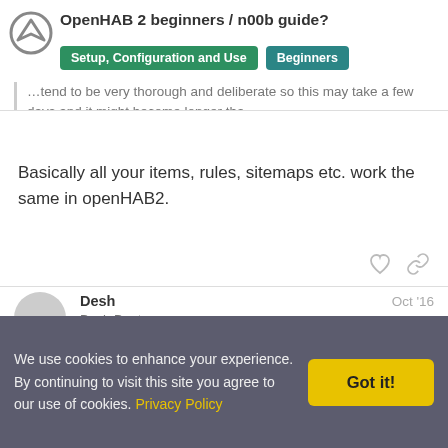OpenHAB 2 beginners / n00b guide? | Setup, Configuration and Use | Beginners
...thorough and deliberate so this may take a few days and it might become longer tha…
Basically all your items, rules, sitemaps etc. work the same in openHAB2.
Desh  Desh Denton  Oct '16
Hi, thanks for the quick replies. It helped a bit, but what is anoying, that with paper ui the configuration is stored in a data
We use cookies to enhance your experience. By continuing to visit this site you agree to our use of cookies. Privacy Policy  Got it!